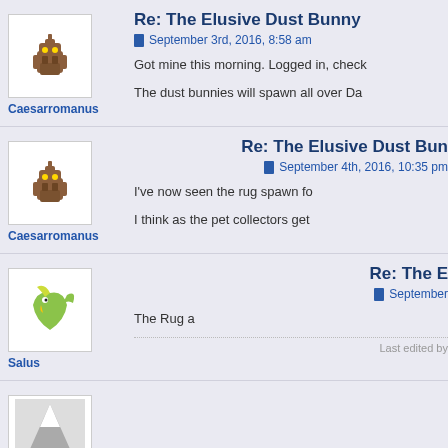Re: The Elusive Dust Bunny
September 3rd, 2016, 8:58 am
Got mine this morning. Logged in, check…
The dust bunnies will spawn all over Da…
Re: The Elusive Dust Bun…
September 4th, 2016, 10:35 pm
I've now seen the rug spawn fo…
I think as the pet collectors get…
Re: The E…
September…
The Rug a…
Last edited by…